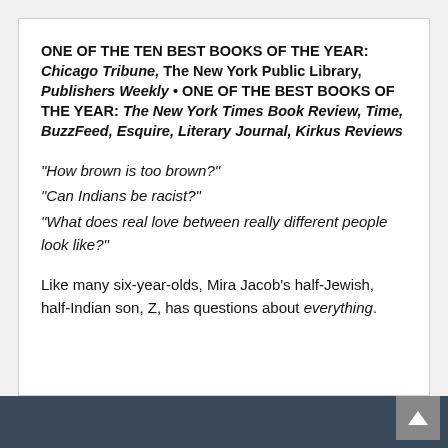ONE OF THE TEN BEST BOOKS OF THE YEAR: Chicago Tribune, The New York Public Library, Publishers Weekly • ONE OF THE BEST BOOKS OF THE YEAR: The New York Times Book Review, Time, BuzzFeed, Esquire, Literary Journal, Kirkus Reviews
"How brown is too brown?" "Can Indians be racist?" "What does real love between really different people look like?"
Like many six-year-olds, Mira Jacob's half-Jewish, half-Indian son, Z, has questions about everything.